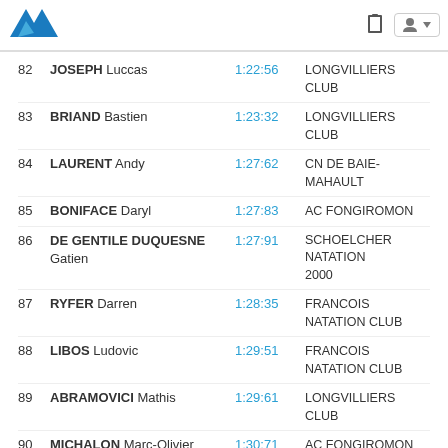Natation results header with logo and icons
82 JOSEPH Luccas 1:22:56 LONGVILLIERS CLUB
83 BRIAND Bastien 1:23:32 LONGVILLIERS CLUB
84 LAURENT Andy 1:27:62 CN DE BAIE-MAHAULT
85 BONIFACE Daryl 1:27:83 AC FONGIROMON
86 DE GENTILE DUQUESNE Gatien 1:27:91 SCHOELCHER NATATION 2000
87 RYFER Darren 1:28:35 FRANCOIS NATATION CLUB
88 LIBOS Ludovic 1:29:51 FRANCOIS NATATION CLUB
89 ABRAMOVICI Mathis 1:29:61 LONGVILLIERS CLUB
90 MICHALON Marc-Olivier 1:30:71 AC FONGIROMON
91 MARIE-JOSEPH Nathan 1:30:78 SCHOELCHER NATATION 2000
92 BURGOS Maël 1:30:98 SCHOELCHER NATATION 2000
93 MOUNIC Sacha 1:31:61 SCHOELCHER NATATION 2000
94 VETRAL Medhi 1:31:79 NEPTUNE CLUB LORRAIN
95 JULLIEN Samuel 1:33:28 LONGVILLIERS CLUB